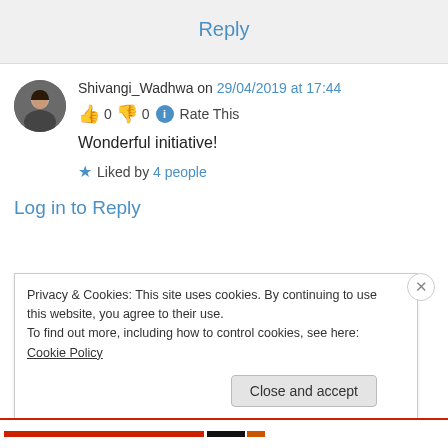Reply
Shivangi_Wadhwa on 29/04/2019 at 17:44
👍 0 👎 0 ℹ Rate This
Wonderful initiative!
★ Liked by 4 people
Log in to Reply
Privacy & Cookies: This site uses cookies. By continuing to use this website, you agree to their use.
To find out more, including how to control cookies, see here: Cookie Policy
Close and accept